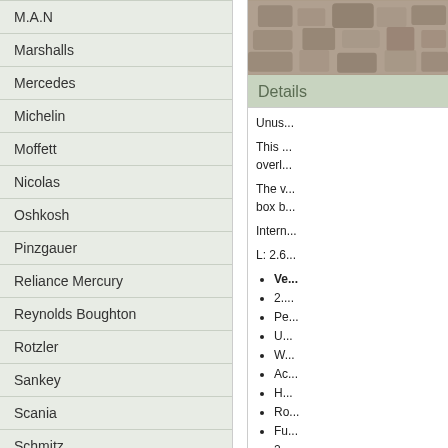M.A.N
Marshalls
Mercedes
Michelin
Moffett
Nicolas
Oshkosh
Pinzgauer
Reliance Mercury
Reynolds Boughton
Rotzler
Sankey
Scania
Schmitz
Seddon Atkinson
Steinbock
Terex
Thomson
Trailmaster
[Figure (photo): Partial photo of a stone or gravel surface, cropped in upper right]
Details
Unus...
This ... overl...
The v... box b...
Intern...
L: 2.6...
Ve...
2....
Pe...
U...
W...
Ac...
H...
Ro...
Fu...
2
Di...
D...
D...
A...